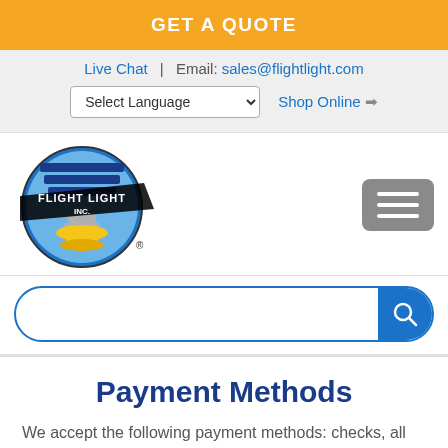GET A QUOTE
Live Chat  |  Email: sales@flightlight.com
[Figure (screenshot): Select Language dropdown and Shop Online link with arrow icon]
[Figure (logo): Flight Light Inc. logo — circular badge with blue globe, stacked blue fins, and yellow base lamp, with stylized text FLIGHT LIGHT INC. in black]
[Figure (other): Hamburger menu button (three horizontal white lines on gray rounded rectangle)]
[Figure (other): Search bar with blue border, rounded pill shape, and blue search button with magnifying glass icon]
Payment Methods
We accept the following payment methods: checks, all major credit cards, wire transfer, ACH payments and